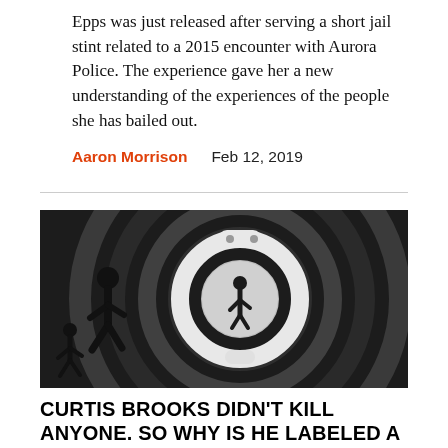Epps was just released after serving a short jail stint related to a 2015 encounter with Aurora Police. The experience gave her a new understanding of the experiences of the people she has bailed out.
Aaron Morrison   Feb 12, 2019
[Figure (illustration): Black and white illustration showing silhouette figures running inside and around a large handcuff, with concentric swirling circles in the background]
CURTIS BROOKS DIDN'T KILL ANYONE. SO WHY IS HE LABELED A MURDERER FOR LIFE?